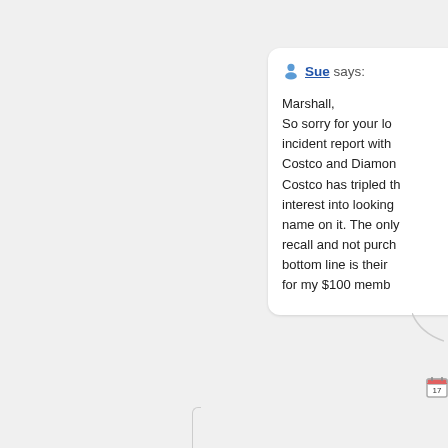Sue says:

Marshall,
So sorry for your lo... incident report with... Costco and Diamon... Costco has tripled th... interest into looking... name on it. The only... recall and not purch... bottom line is their ... for my $100 memb...